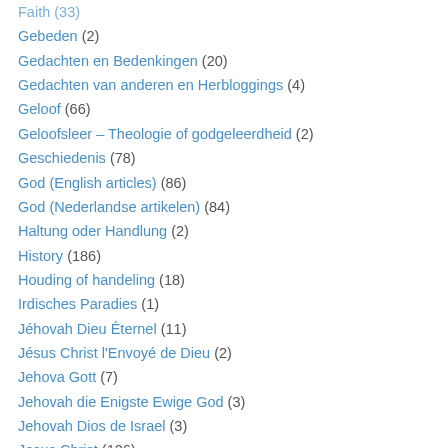Faith (33)
Gebeden (2)
Gedachten en Bedenkingen (20)
Gedachten van anderen en Herbloggings (4)
Geloof (66)
Geloofsleer – Theologie of godgeleerdheid (2)
Geschiedenis (78)
God (English articles) (86)
God (Nederlandse artikelen) (84)
Haltung oder Handlung (2)
History (186)
Houding of handeling (18)
Irdisches Paradies (1)
Jéhovah Dieu Éternel (11)
Jésus Christ l'Envoyé de Dieu (2)
Jehova Gott (7)
Jehovah die Enigste Ewige God (3)
Jehovah Dios de Israel (3)
Jesus Christ (126)
Jesus der Gesandte Gottes (3)